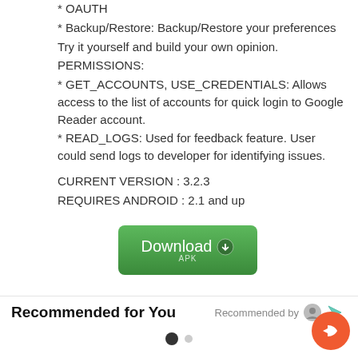* OAUTH
* Backup/Restore: Backup/Restore your preferences
Try it yourself and build your own opinion.
PERMISSIONS:
* GET_ACCOUNTS, USE_CREDENTIALS: Allows access to the list of accounts for quick login to Google Reader account.
* READ_LOGS: Used for feedback feature. User could send logs to developer for identifying issues.
CURRENT VERSION : 3.2.3
REQUIRES ANDROID : 2.1 and up
[Figure (other): Green Download APK button]
Recommended for You
Recommended by